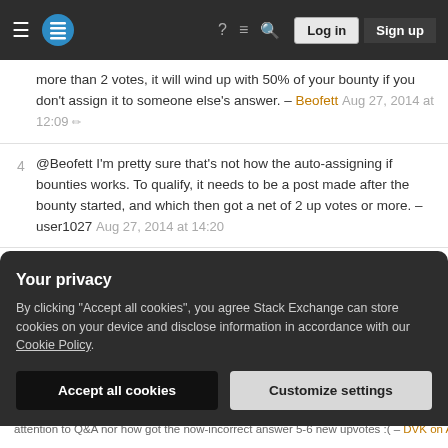Stack Exchange — Log in / Sign up navigation bar
more than 2 votes, it will wind up with 50% of your bounty if you don't assign it to someone else's answer. – Beofett Aug 27, 2014 at 12:09
@Beofett I'm pretty sure that's not how the auto-assigning if bounties works. To qualify, it needs to be a post made after the bounty started, and which then got a net of 2 up votes or more. – user1027 Aug 27, 2014 at 14:20
@Keen Oops. Misread the help center. You are correct: the highest scoring answer posted after the bounty with 2 or more net upvotes. However, I'm still pretty sure you can't assign the bounty to yourself, and
Your privacy — By clicking "Accept all cookies", you agree Stack Exchange can store cookies on your device and disclose information in accordance with our Cookie Policy. — Accept all cookies / Customize settings
attention to Q&A nor how got the now-incorrect answer 5-6 new upvotes :( — DVK on Ahab To... Aug 27, 2014